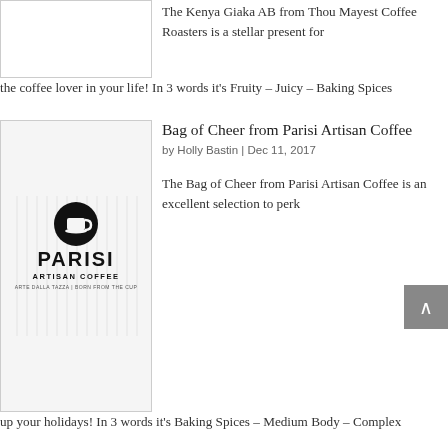[Figure (photo): Thumbnail image placeholder for Kenya Giaka AB article, partially visible at top]
The Kenya Giaka AB from Thou Mayest Coffee Roasters is a stellar present for the coffee lover in your life! In 3 words it's Fruity – Juicy – Baking Spices
[Figure (logo): Parisi Artisan Coffee logo — black circular icon with coffee cup above text PARISI ARTISAN COFFEE ARTE DALLA TAZZA]
Bag of Cheer from Parisi Artisan Coffee
by Holly Bastin | Dec 11, 2017
The Bag of Cheer from Parisi Artisan Coffee is an excellent selection to perk up your holidays! In 3 words it's Baking Spices – Medium Body – Complex
[Figure (photo): Thumbnail image placeholder for Guatemala el Embajador article]
Guatemala el Embajador by Oddly